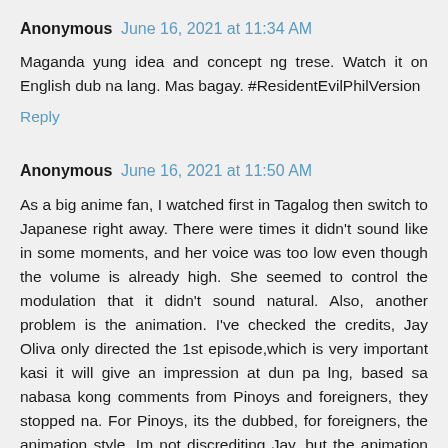Anonymous June 16, 2021 at 11:34 AM
Maganda yung idea and concept ng trese. Watch it on English dub na lang. Mas bagay. #ResidentEvilPhilVersion
Reply
Anonymous June 16, 2021 at 11:50 AM
As a big anime fan, I watched first in Tagalog then switch to Japanese right away. There were times it didn't sound like in some moments, and her voice was too low even though the volume is already high. She seemed to control the modulation that it didn't sound natural. Also, another problem is the animation. I've checked the credits, Jay Oliva only directed the 1st episode,which is very important kasi it will give an impression at dun pa lng, based sa nabasa kong comments from Pinoys and foreigners, they stopped na. For Pinoys, its the dubbed, for foreigners, the animation style. Im not discrediting Jay, but the animation sucked big time 1st ep pa lng. Not many transitional expressions. I havent seen Trese blinked the whole series.